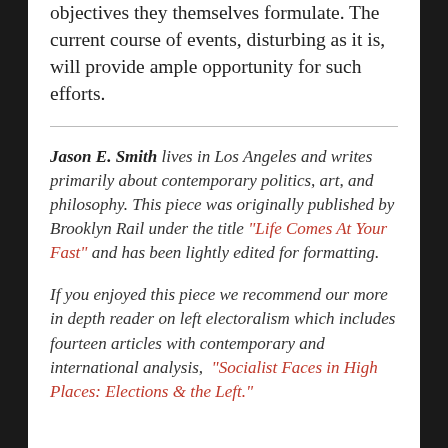objectives they themselves formulate. The current course of events, disturbing as it is, will provide ample opportunity for such efforts.
Jason E. Smith lives in Los Angeles and writes primarily about contemporary politics, art, and philosophy. This piece was originally published by Brooklyn Rail under the title “Life Comes At Your Fast” and has been lightly edited for formatting.
If you enjoyed this piece we recommend our more in depth reader on left electoralism which includes fourteen articles with contemporary and international analysis, “Socialist Faces in High Places: Elections & the Left.”